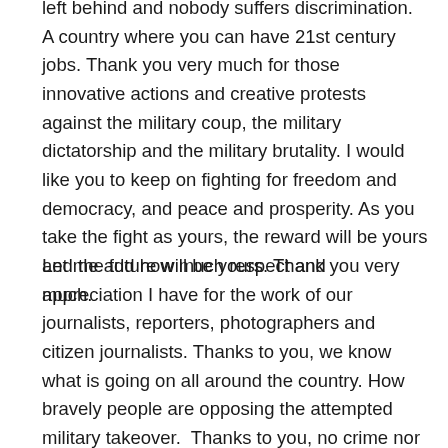left behind and nobody suffers discrimination. A country where you can have 21st century jobs. Thank you very much for those innovative actions and creative protests against the military coup, the military dictatorship and the military brutality. I would like you to keep on fighting for freedom and democracy, and peace and prosperity. As you take the fight as yours, the reward will be yours and the future will be yours. Thank you very much.
Let me add how much respect and appreciation I have for the work of our journalists, reporters, photographers and citizen journalists. Thanks to you, we know what is going on all around the country. How bravely people are opposing the attempted military takeover.  Thanks to you, no crime nor atrocity committed by the junta's soldiers remains hidden and in secret. Thanks to you, we all know and the whole world knows. Thank you for that. On behalf of the NUG, I am making a pledge that we will build a country in which the media will be free to do their work independently and professionally.